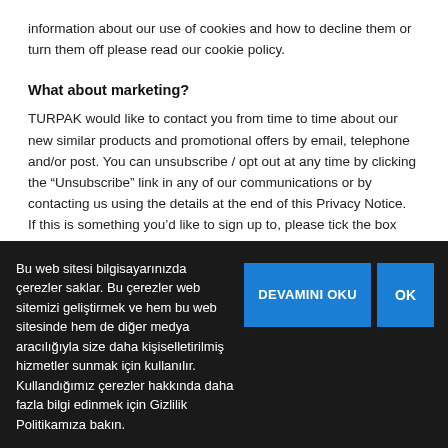information about our use of cookies and how to decline them or turn them off please read our cookie policy.
What about marketing?
TURPAK would like to contact you from time to time about our new similar products and promotional offers by email, telephone and/or post. You can unsubscribe / opt out at any time by clicking the “Unsubscribe” link in any of our communications or by contacting us using the details at the end of this Privacy Notice.
If this is something you’d like to sign up to, please tick the box below.
Please sign me up to receive communications about new products and
Bu web sitesi bilgisayarınızda çerezler saklar. Bu çerezler web sitemizi geliştirmek ve hem bu web sitesinde hem de diğer medya aracılığıyla size daha kişiselletirilmiş hizmetler sunmak için kullanılır. Kullandığımız çerezler hakkında daha fazla bilgi edinmek için Gizlilik Politikamıza bakın.